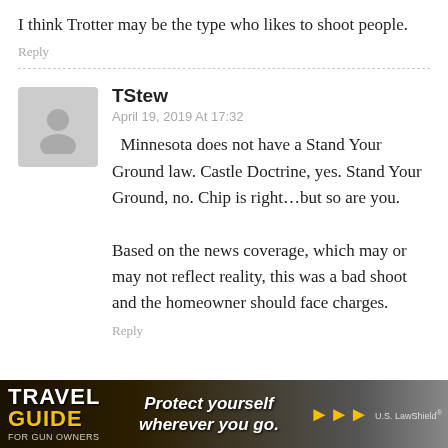I think Trotter may be the type who likes to shoot people.
Reply
TStew
April 19, 2019 At 17:32
Minnesota does not have a Stand Your Ground law. Castle Doctrine, yes. Stand Your Ground, no. Chip is right…but so are you.

Based on the news coverage, which may or may not reflect reality, this was a bad shoot and the homeowner should face charges.
Reply
[Figure (infographic): Advertisement banner for Travel Guide For Gun Owners featuring 'Protect yourself wherever you go.' with US LawShield branding, dark background with orange/gold arrows.]